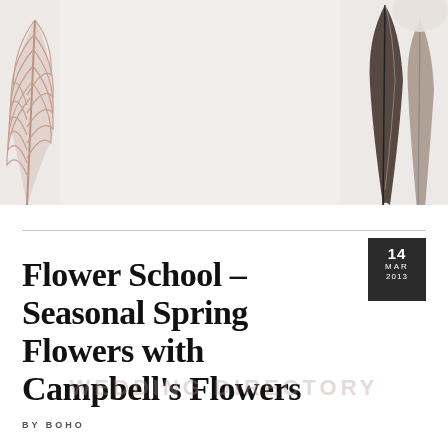[Figure (photo): Decorative feathers on a light background — a pinkish-tan feather on the left and dark/grey feathers on the right against a pale grey/white background.]
Flower School – Seasonal Spring Flowers with Campbell's Flowers
BY BOHO